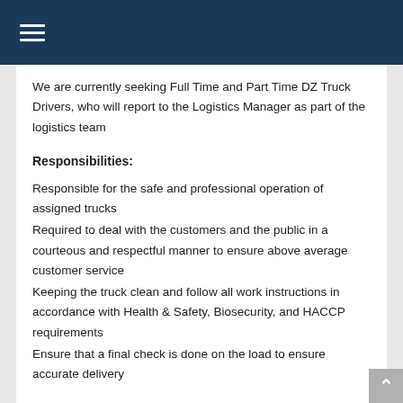≡
We are currently seeking Full Time and Part Time DZ Truck Drivers, who will report to the Logistics Manager as part of the logistics team
Responsibilities:
Responsible for the safe and professional operation of assigned trucks
Required to deal with the customers and the public in a courteous and respectful manner to ensure above average customer service
Keeping the truck clean and follow all work instructions in accordance with Health & Safety, Biosecurity, and HACCP requirements
Ensure that a final check is done on the load to ensure accurate delivery